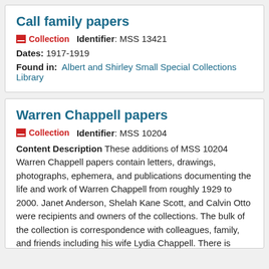Call family papers
Collection   Identifier: MSS 13421
Dates: 1917-1919
Found in:  Albert and Shirley Small Special Collections Library
Warren Chappell papers
Collection   Identifier: MSS 10204
Content Description These additions of MSS 10204 Warren Chappell papers contain letters, drawings, photographs, ephemera, and publications documenting the life and work of Warren Chappell from roughly 1929 to 2000. Janet Anderson, Shelah Kane Scott, and Calvin Otto were recipients and owners of the collections. The bulk of the collection is correspondence with colleagues, family, and friends including his wife Lydia Chappell. There is significant amounts of correspondence with Rafael Fernandez, Curator of Prints...